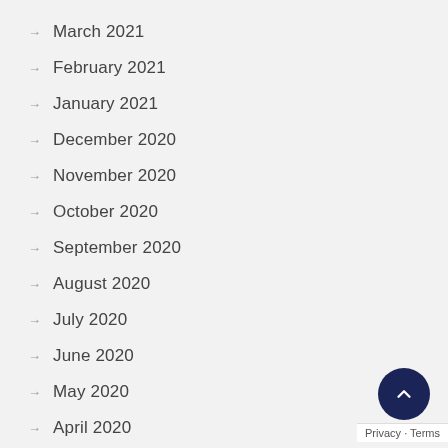→ March 2021
→ February 2021
→ January 2021
→ December 2020
→ November 2020
→ October 2020
→ September 2020
→ August 2020
→ July 2020
→ June 2020
→ May 2020
→ April 2020